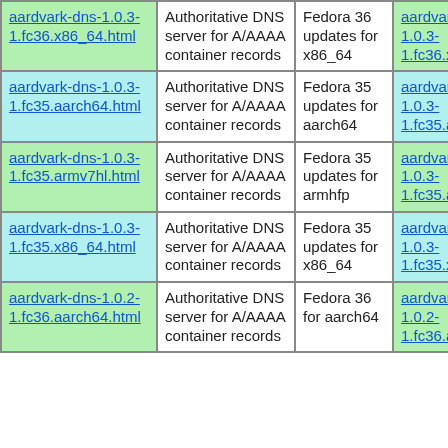| aardvark-dns-1.0.3-1.fc36.x86_64.html | Authoritative DNS server for A/AAAA container records | Fedora 36 updates for x86_64 | aardvark-dns-1.0.3-1.fc36.x86_64.rpm |
| aardvark-dns-1.0.3-1.fc35.aarch64.html | Authoritative DNS server for A/AAAA container records | Fedora 35 updates for aarch64 | aardvark-dns-1.0.3-1.fc35.aarch64.rpm |
| aardvark-dns-1.0.3-1.fc35.armv7hl.html | Authoritative DNS server for A/AAAA container records | Fedora 35 updates for armhfp | aardvark-dns-1.0.3-1.fc35.armv7hl.rpm |
| aardvark-dns-1.0.3-1.fc35.x86_64.html | Authoritative DNS server for A/AAAA container records | Fedora 35 updates for x86_64 | aardvark-dns-1.0.3-1.fc35.x86_64.rpm |
| aardvark-dns-1.0.2-1.fc36.aarch64.html | Authoritative DNS server for A/AAAA container records | Fedora 36 for aarch64 | aardvark-dns-1.0.2-1.fc36.aarch64.rpm |